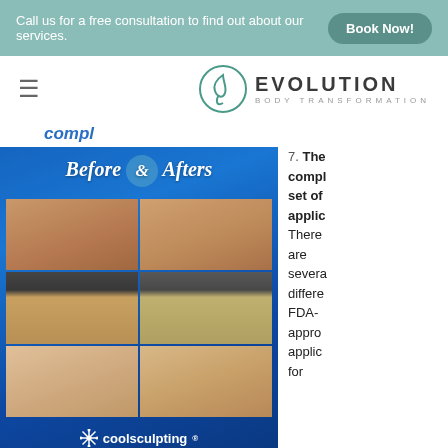Call us for a free consultation to find out about our services.  Book Now!
[Figure (logo): Evolution Body Transformation logo with circular leaf/drop icon and text]
compl
[Figure (photo): CoolSculpting Before & Afters promotional image showing 6 before/after body photos in a grid on blue background with coolsculpting branding]
7. The compl set of applic There are severa differe FDA- appro applic for